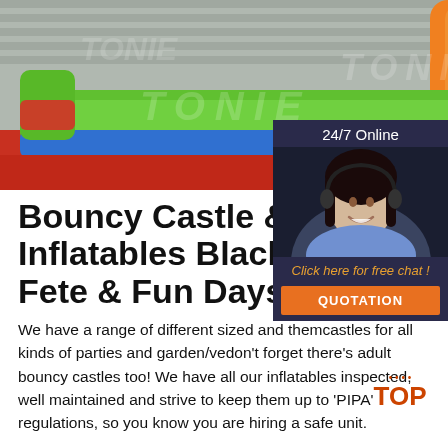[Figure (photo): Large inflatable bouncy castle structure with green and blue inflatable walls/perimeter on a red surface, with an orange inflatable climbing wall in the background. Watermark text visible.]
[Figure (photo): 24/7 Online chat widget showing a dark navy panel with a smiling female customer service agent wearing a headset, with orange italic text 'Click here for free chat!' and an orange QUOTATION button below.]
Bouncy Castle & Inflatables Blackpool. Fete & Fun Days
We have a range of different sized and themed bouncy castles for all kinds of parties and garden/venue hire, don't forget there's adult bouncy castles too! We have all our inflatables inspected, well maintained and strive to keep them up to 'PIPA' regulations, so you know you are hiring a safe unit.
[Figure (logo): TOP badge in orange/red with small decorative dots above]
Get Price